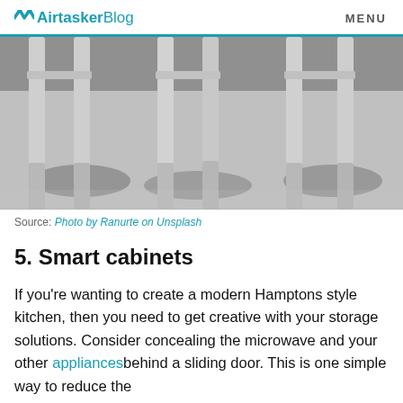Airtasker Blog  MENU
[Figure (photo): Bottom portion of white/light grey bar stools or chairs on a grey floor, showing chair legs and shadows]
Source: Photo by Ranurte on Unsplash
5. Smart cabinets
If you’re wanting to create a modern Hamptons style kitchen, then you need to get creative with your storage solutions. Consider concealing the microwave and your other appliances behind a sliding door. This is one simple way to reduce the